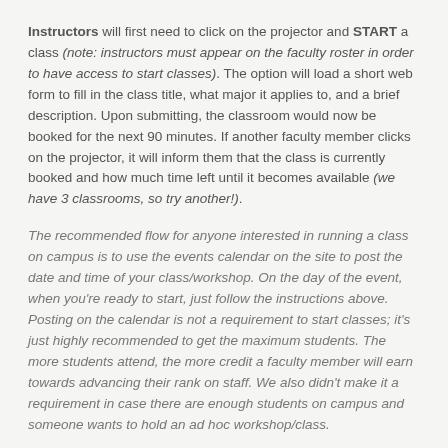Instructors will first need to click on the projector and START a class (note: instructors must appear on the faculty roster in order to have access to start classes). The option will load a short web form to fill in the class title, what major it applies to, and a brief description. Upon submitting, the classroom would now be booked for the next 90 minutes. If another faculty member clicks on the projector, it will inform them that the class is currently booked and how much time left until it becomes available (we have 3 classrooms, so try another!).
The recommended flow for anyone interested in running a class on campus is to use the events calendar on the site to post the date and time of your class/workshop. On the day of the event, when you're ready to start, just follow the instructions above. Posting on the calendar is not a requirement to start classes; it's just highly recommended to get the maximum students. The more students attend, the more credit a faculty member will earn towards advancing their rank on staff. We also didn't make it a requirement in case there are enough students on campus and someone wants to hold an ad hoc workshop/class.
Students at this point can click on the...